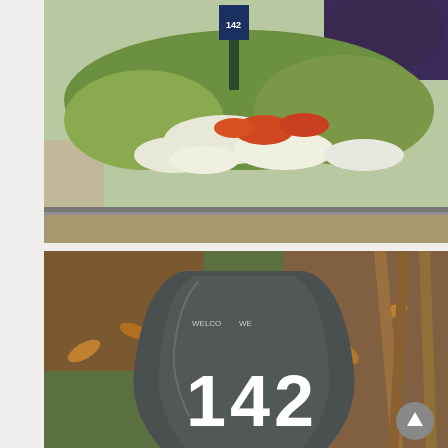[Figure (photo): Garden with colorful flowers including orange and white blooms, green foliage, and a mailbox visible in the background showing number 142]
[Figure (photo): Close-up of a garden spade with the house number 142 painted in white on the dark metal blade, placed in a garden with grass and fallen leaves, a red brick visible at the base]
House Number Plate Made From a Garden Spade
4 – Original Source Used: >> Click Here <<